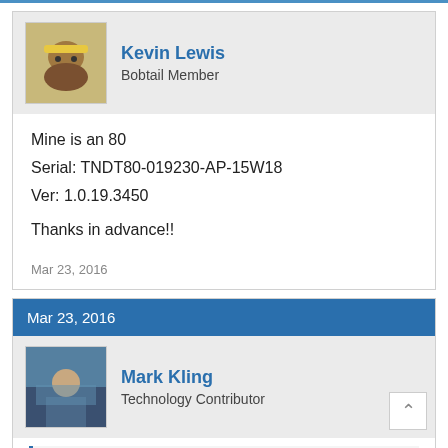Kevin Lewis
Bobtail Member
Mine is an 80
Serial: TNDT80-019230-AP-15W18
Ver: 1.0.19.3450

Thanks in advance!!
Mar 23, 2016
Mar 23, 2016
Mark Kling
Technology Contributor
KEVIN LEWIS SAID: ↑
Mine is an 80
Serial: TNDT80-019230-AP-15W18